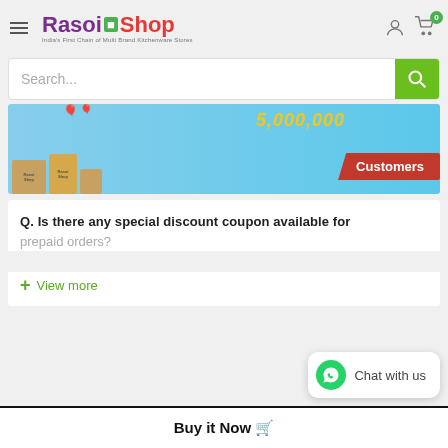[Figure (logo): Rasoi Shop logo - India's First Chain of Multi Brand Kitchenware Stores]
Search...
[Figure (photo): Rasoi Shop promotional banner showing delivery boxes and ribbon with text 'Customers' and a large number in yellow]
Q. Is there any special discount coupon available for prepaid orders?
+ View more
Chat with us
Buy it Now 🛒